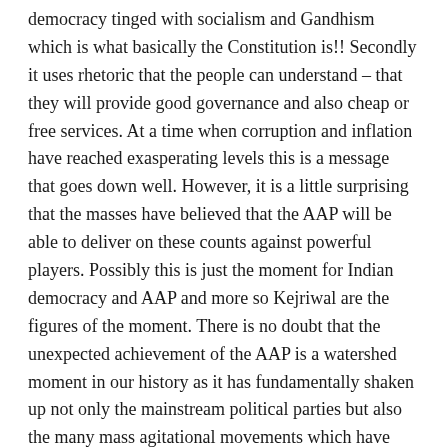democracy tinged with socialism and Gandhism which is what basically the Constitution is!! Secondly it uses rhetoric that the people can understand – that they will provide good governance and also cheap or free services. At a time when corruption and inflation have reached exasperating levels this is a message that goes down well. However, it is a little surprising that the masses have believed that the AAP will be able to deliver on these counts against powerful players. Possibly this is just the moment for Indian democracy and AAP and more so Kejriwal are the figures of the moment. There is no doubt that the unexpected achievement of the AAP is a watershed moment in our history as it has fundamentally shaken up not only the mainstream political parties but also the many mass agitational movements which have been slogging for years without being able to make a dent in the power structure. However, there is still a need for caution. Elimination of corruption is not easy and the AAP will face many